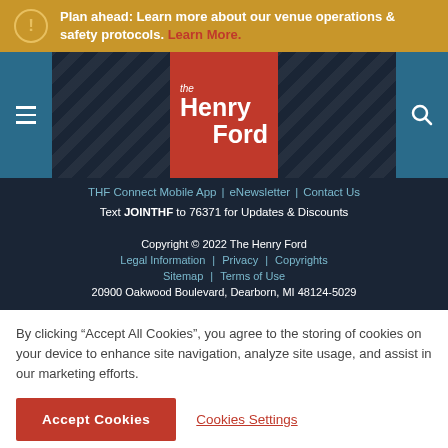Plan ahead: Learn more about our venue operations & safety protocols. Learn More.
[Figure (logo): The Henry Ford museum logo — red rectangle with 'the Henry Ford' text in white, hamburger menu icon left, search icon right, dark navy chevron-pattern background]
THF Connect Mobile App | eNewsletter | Contact Us
Text JOINTHF to 76371 for Updates & Discounts
Copyright © 2022 The Henry Ford
Legal Information | Privacy | Copyrights
Sitemap | Terms of Use
20900 Oakwood Boulevard, Dearborn, MI 48124-5029
By clicking "Accept All Cookies", you agree to the storing of cookies on your device to enhance site navigation, analyze site usage, and assist in our marketing efforts.
Accept Cookies   Cookies Settings